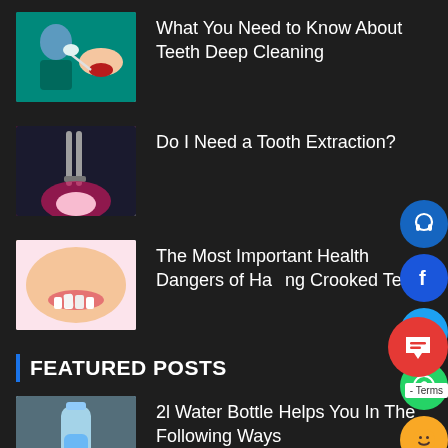[Figure (photo): Dentist treating a patient - teeth deep cleaning procedure]
What You Need to Know About Teeth Deep Cleaning
[Figure (photo): Tooth extraction procedure close-up]
Do I Need a Tooth Extraction?
[Figure (photo): Close-up of a person showing crooked teeth]
The Most Important Health Dangers of Having Crooked Teeth
FEATURED POSTS
[Figure (photo): Person holding a 2L water bottle]
2l Water Bottle Helps You In The Following Ways
[Figure (photo): Partial thumbnail - green nature image]
What Should You...